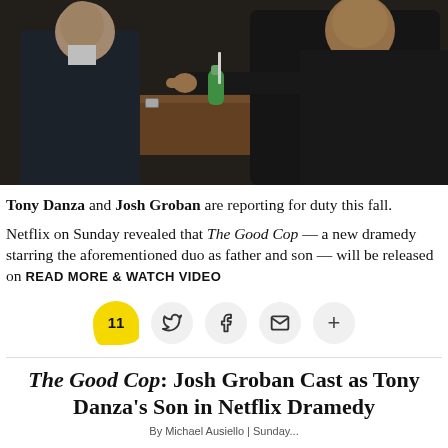[Figure (photo): Two men sit at a wooden table in a dim bar setting; one man in a suit faces away, the other in a leather jacket points a finger accusingly across the table. A green drink bottle sits between them.]
Tony Danza and Josh Groban are reporting for duty this fall.
Netflix on Sunday revealed that The Good Cop — a new dramedy starring the aforementioned duo as father and son — will be released on READ MORE & WATCH VIDEO
[Figure (infographic): Social sharing bar with comment badge showing 11, Twitter, Facebook, email, and plus buttons]
The Good Cop: Josh Groban Cast as Tony Danza's Son in Netflix Dramedy
By Michael Ausiello | Sunday...